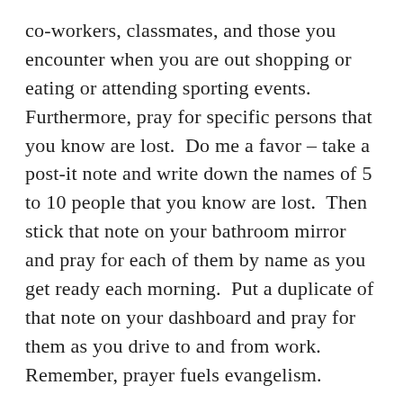co-workers, classmates, and those you encounter when you are out shopping or eating or attending sporting events. Furthermore, pray for specific persons that you know are lost. Do me a favor – take a post-it note and write down the names of 5 to 10 people that you know are lost. Then stick that note on your bathroom mirror and pray for each of them by name as you get ready each morning. Put a duplicate of that note on your dashboard and pray for them as you drive to and from work. Remember, prayer fuels evangelism.
Second, be prepared to share the gospel when God opens the door. Evangelism is more than just talking about God; it is pointing it...